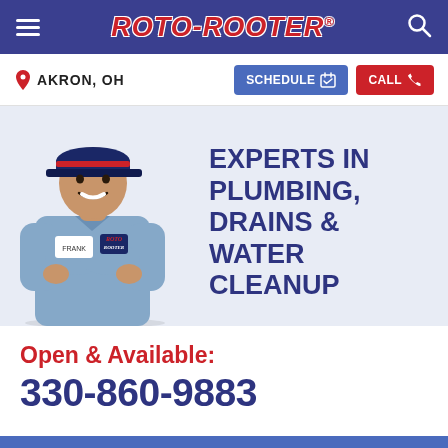ROTO-ROOTER
AKRON, OH
SCHEDULE
CALL
[Figure (photo): Roto-Rooter uniformed technician smiling with arms crossed, wearing a blue shirt and dark cap with Roto-Rooter logo]
EXPERTS IN PLUMBING, DRAINS & WATER CLEANUP
Open & Available: 330-860-9883